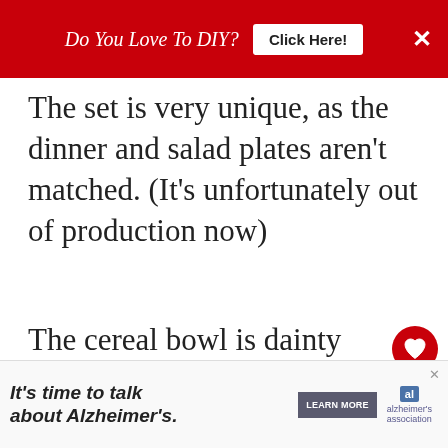Do You Love To DIY?   Click Here!   ×
The set is very unique, as the dinner and salad plates aren't matched. (It's unfortunately out of production now)
The cereal bowl is dainty with gentle curves and I thought, this is it, but my husband, knowing my penchant for returns and how what you see on always what you get, said let's see it first.
[Figure (infographic): What's Next arrow widget with thumbnail showing How To Patch A Couch]
It's time to talk about Alzheimer's.   LEARN MORE